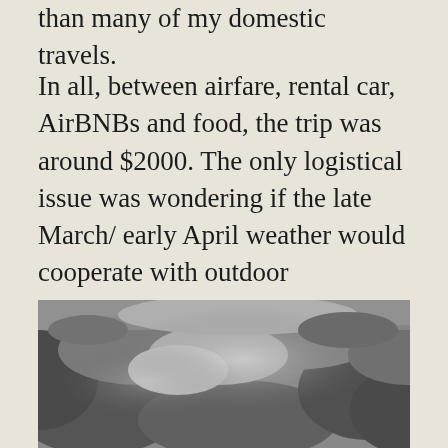than many of my domestic travels.
In all, between airfare, rental car, AirBNBs and food, the trip was around $2000. The only logistical issue was wondering if the late March/ early April weather would cooperate with outdoor adventures, which for the most part, it did.
[Figure (photo): Black and white photograph of a dramatic cloudy sky with light breaking through storm clouds]